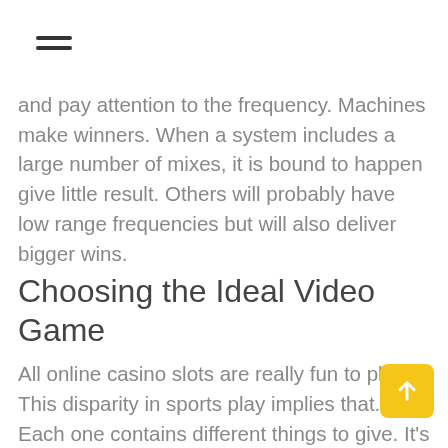☰
and pay attention to the frequency. Machines make winners. When a system includes a large number of mixes, it is bound to happen give little result. Others will probably have low range frequencies but will also deliver bigger wins.
Choosing the Ideal Video Game
All online casino slots are really fun to play. This disparity in sports play implies that. Each one contains different things to give. It's worth your time and time and effort to explore and hunt